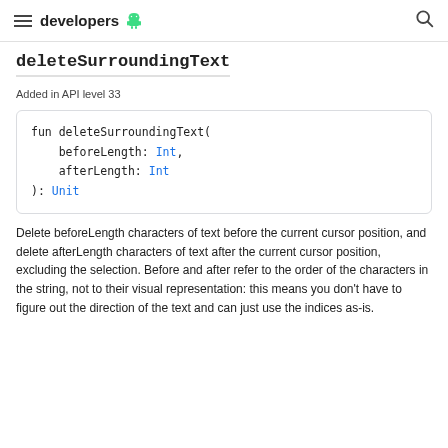developers
deleteSurroundingText
Added in API level 33
[Figure (screenshot): Code block showing Kotlin function signature: fun deleteSurroundingText( beforeLength: Int, afterLength: Int ): Unit]
Delete beforeLength characters of text before the current cursor position, and delete afterLength characters of text after the current cursor position, excluding the selection. Before and after refer to the order of the characters in the string, not to their visual representation: this means you don't have to figure out the direction of the text and can just use the indices as-is.